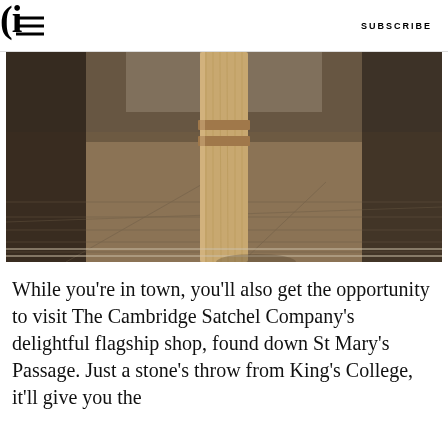G  SUBSCRIBE
[Figure (photo): Close-up photograph of a wooden bollard or post on a cobblestone passageway, with stone floor tiles visible in the background. The image shows a narrow historic alleyway or passage with aged stone paving.]
While you’re in town, you’ll also get the opportunity to visit The Cambridge Satchel Company’s delightful flagship shop, found down St Mary’s Passage. Just a stone’s throw from King’s College, it’ll give you the